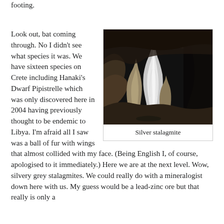footing.
Look out, bat coming through. No I didn't see what species it was. We have sixteen species on Crete including Hanaki's Dwarf Pipistrelle which was only discovered here in 2004 having previously thought to be endemic to Libya. I'm afraid all I saw was a ball of fur with wings that almost collided with my face. (Being English I, of course, apologised to it immediately.) Here we are at the next level. Wow, silvery grey stalagmites. We could really do with a mineralogist down here with us. My guess would be a lead-zinc ore but that really is only a
[Figure (photo): A cave interior showing a tall silver-white stalagmite formation surrounded by other cave formations, photographed in near darkness with dramatic lighting highlighting the mineral structures.]
Silver stalagmite